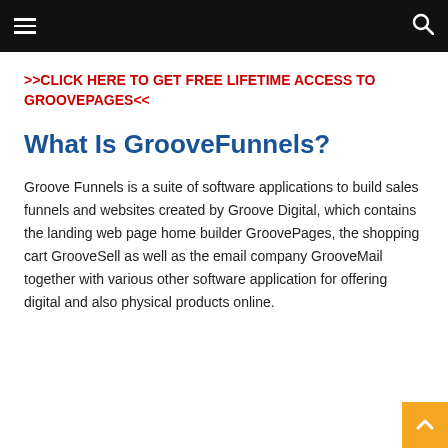≡  🔍
>>CLICK HERE TO GET FREE LIFETIME ACCESS TO GROOVEPAGES<<
What Is GrooveFunnels?
Groove Funnels is a suite of software applications to build sales funnels and websites created by Groove Digital, which contains the landing web page home builder GroovePages, the shopping cart GrooveSell as well as the email company GrooveMail together with various other software application for offering digital and also physical products online.